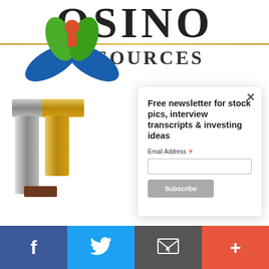OSINO
RESOURCES
[Figure (logo): Green leaf/person logo icon — circular emblem with blue wings and green leaves]
[Figure (logo): Silver and gold T-shaped logo mark]
Free newsletter for stock pics, interview transcripts & investing ideas
Email Address *
Subscribe
f
Twitter bird icon
Email icon
+